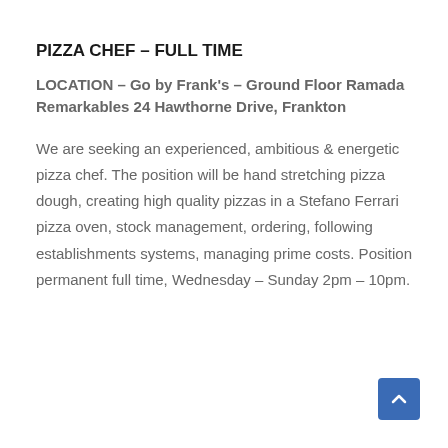PIZZA CHEF – FULL TIME
LOCATION – Go by Frank's – Ground Floor Ramada Remarkables 24 Hawthorne Drive, Frankton
We are seeking an experienced, ambitious & energetic pizza chef. The position will be hand stretching pizza dough, creating high quality pizzas in a Stefano Ferrari pizza oven, stock management, ordering, following establishments systems, managing prime costs. Position permanent full time, Wednesday – Sunday 2pm – 10pm.